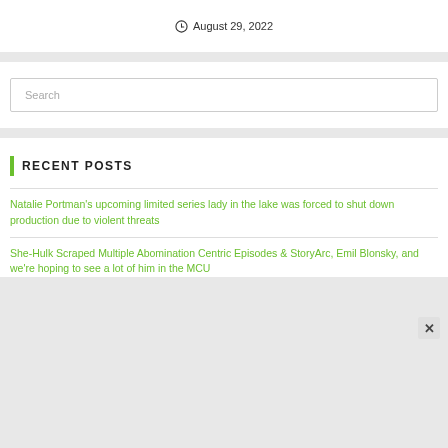August 29, 2022
Search
Recent Posts
Natalie Portman's upcoming limited series lady in the lake was forced to shut down production due to violent threats
She-Hulk Scraped Multiple Abomination Centric Episodes & StoryArc, Emil Blonsky, and we're hoping to see a lot of him in the MCU